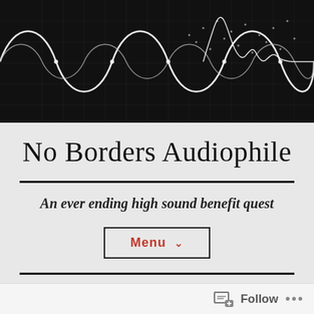[Figure (illustration): Dark background header image showing audio waveforms (sine waves) overlaid on a grid/graph pattern in white/grey tones]
No Borders Audiophile
An ever ending high sound benefit quest
Menu ∨
XDUOO X20 REVIEW: Greatest
Follow ...